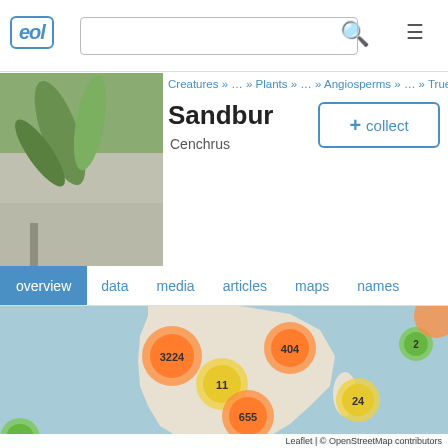eol
Creatures » … » Plants » … » Angiosperms » … » True Grasses
Sandbur
Cenchrus
+ collect
overview  data  media  articles  maps  names
[Figure (map): Interactive map showing Sandbur (Cenchrus) occurrence data across Africa and Indian Ocean region. Clustered markers show: 3224 (orange, West Africa), 404 (orange, East Africa/Horn), 2 (green, Indian Ocean), 11 (yellow, Central Africa), 24 (yellow, Indian Ocean), 655 (orange, Southern Africa), 2 (green, South Atlantic), and partial orange cluster top right.]
Leaflet | © OpenStreetMap contributors